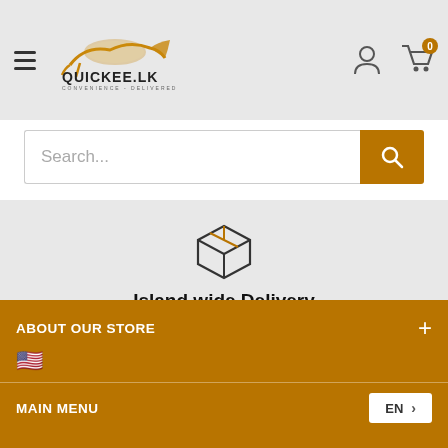[Figure (logo): Quickee.lk logo with golden cheetah/animal icon and text QUICKEE.LK CONVENIENCE - DELIVERED]
Search...
[Figure (illustration): Box/package icon indicating delivery]
Island wide Delivery
Get anything that is not cooked delivered anywhere in Sri Lanka!
ABOUT OUR STORE
🇺🇸
MAIN MENU
EN >